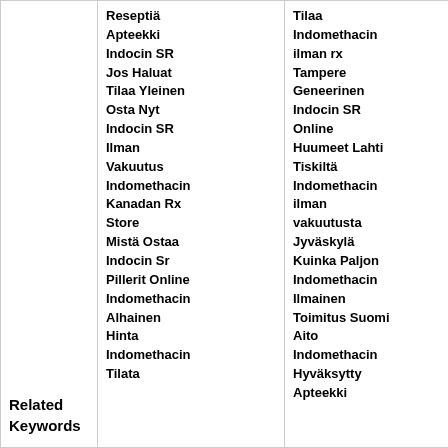|  | Column 1 | Column 2 | Column 3 |
| --- | --- | --- | --- |
| Related Keywords | Reseptiä Apteekki Indocin SR Jos Haluat Tilaa Yleinen Osta Nyt Indocin SR Ilman Vakuutus Indomethacin Kanadan Rx Store Mistä Ostaa Indocin Sr Pillerit Online Indomethacin Alhainen Hinta Indomethacin Tilata | Tilaa Indomethacin ilman rx Tampere Geneerinen Indocin SR Online Huumeet Lahti Tiskiltä Indomethacin ilman vakuutusta Jyväskylä Kuinka Paljon Indomethacin Ilmainen Toimitus Suomi Aito Indomethacin Hyväksytty Apteekki | Kuink Indom Rx Ap Jyväs Alhai Gene Indoc Overs Apte Gene Indom Oikeu Apte Helsi Kuink Indoc Paras Apte Helsi Gene |